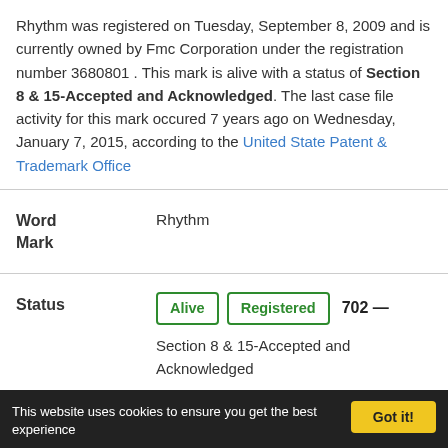Rhythm was registered on Tuesday, September 8, 2009 and is currently owned by Fmc Corporation under the registration number 3680801 . This mark is alive with a status of Section 8 & 15-Accepted and Acknowledged. The last case file activity for this mark occured 7 years ago on Wednesday, January 7, 2015, according to the United State Patent & Trademark Office
| Field | Value |
| --- | --- |
| Word Mark | Rhythm |
| Status | Alive | Registered | 702 — Section 8 & 15-Accepted and Acknowledged |
This website uses cookies to ensure you get the best experience